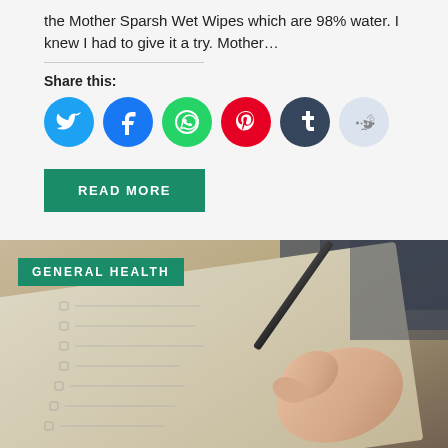the Mother Sparsh Wet Wipes which are 98% water. I knew I had to give it a try. Mother…
Share this:
[Figure (infographic): Row of social media share buttons: Twitter (blue), Facebook (dark blue), WhatsApp (green), Pinterest (red), Tumblr (dark navy), Reddit (light blue/grey)]
READ MORE
[Figure (photo): Photo of a hand holding a pen writing on a checklist notepad, with a 'GENERAL HEALTH' green badge overlay in the top-left corner]